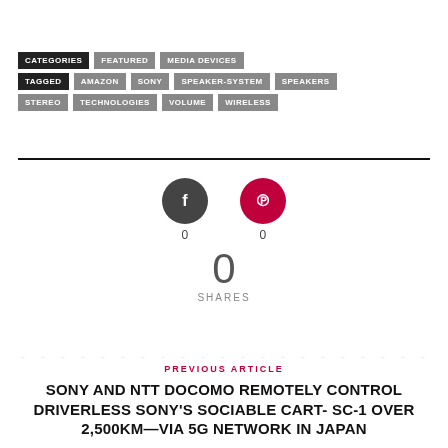(previous article title — partially visible)
CATEGORIES  FEATURED  MEDIA DEVICES
TAGGED  AMAZON  SONY  SPEAKER-SYSTEM  SPEAKERS
STEREO  TECHNOLOGIES  VOLUME  WIRELESS
[Figure (infographic): Facebook and Pinterest share buttons with count 0 each; total 0 SHARES]
PREVIOUS ARTICLE
SONY AND NTT DOCOMO REMOTELY CONTROL DRIVERLESS SONY'S SOCIABLE CART- SC-1 OVER 2,500KM—VIA 5G NETWORK IN JAPAN